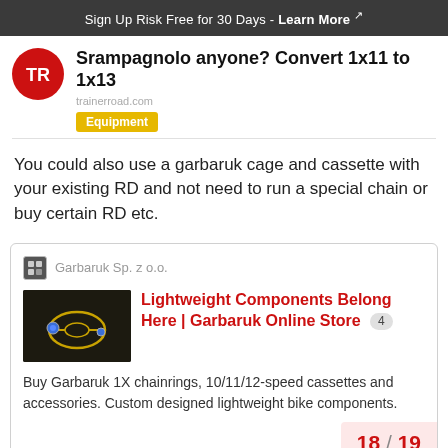Sign Up Risk Free for 30 Days - Learn More
Srampagnolo anyone? Convert 1x11 to 1x13
Equipment
You could also use a garbaruk cage and cassette with your existing RD and not need to run a special chain or buy certain RD etc.
[Figure (screenshot): Garbaruk Sp. z o.o. social media post card showing a product image and link titled 'Lightweight Components Belong Here | Garbaruk Online Store' with description 'Buy Garbaruk 1X chainrings, 10/11/12-speed cassettes and accessories. Custom designed lightweight bike components.']
18 / 19